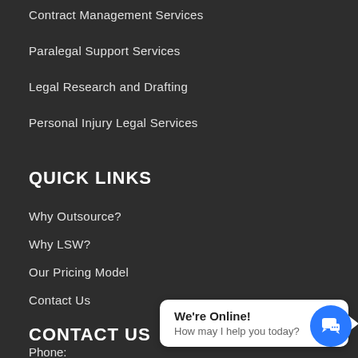Contract Management Services
Paralegal Support Services
Legal Research and Drafting
Personal Injury Legal Services
QUICK LINKS
Why Outsource?
Why LSW?
Our Pricing Model
Contact Us
CONTACT US
Phone: